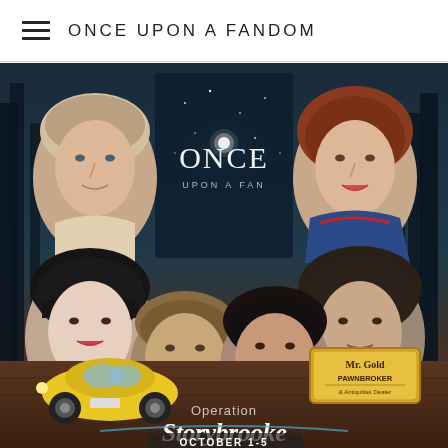ONCE UPON A FANDOM
[Figure (illustration): Illustrated promotional poster for 'Operation Storybrooke' fan convention, October 1-5. Features drawn portraits of Once Upon a Time characters including Snow White, Robin Hood, Regina/Evil Queen, Rumplestiltskin/Mr. Gold, and others. Center shows the ONCE Upon a Fan logo over a dark forest background. Bottom shows a yellow VW Beetle car, a Mr. Gold Pawnbroker & Antiquities Dealer sign, and large stylized text reading 'Operation Storybrooke' with 'OCTOBER 1-5' beneath.]